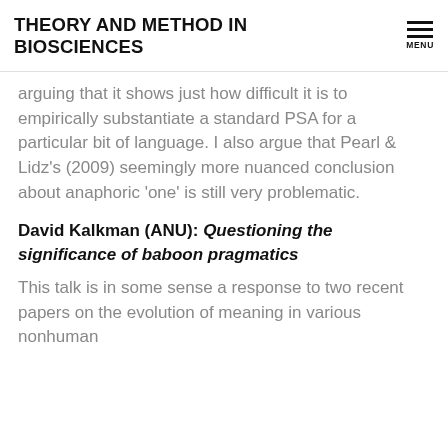THEORY AND METHOD IN BIOSCIENCES
arguing that it shows just how difficult it is to empirically substantiate a standard PSA for a particular bit of language. I also argue that Pearl & Lidz's (2009) seemingly more nuanced conclusion about anaphoric 'one' is still very problematic.
David Kalkman (ANU): Questioning the significance of baboon pragmatics
This talk is in some sense a response to two recent papers on the evolution of meaning in various nonhuman